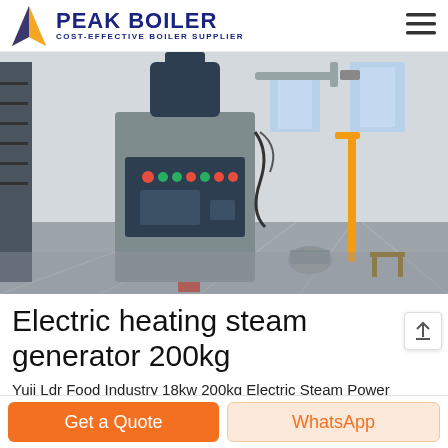PEAK BOILER COST-EFFECTIVE BOILER SUPPLIER
[Figure (photo): Industrial electric steam generator boiler in a factory setting, showing a vertical unit with control panel, pipes, and industrial background]
Electric heating steam generator 200kg
Yuji Ldr Food Industry 18kw 200kg Electric Steam Power Generator Boiler Price For Cooking, Find Complete Details about Yuji Ldr Food Industry 18kw 200kg Electric Steam Power...